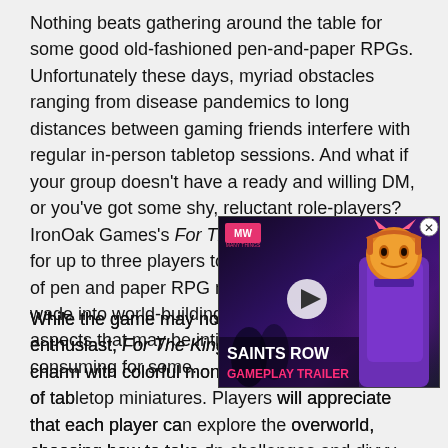Nothing beats gathering around the table for some good old-fashioned pen-and-paper RPGs. Unfortunately these days, myriad obstacles ranging from disease pandemics to long distances between gaming friends interfere with regular in-person tabletop sessions. And what if your group doesn't have a ready and willing DM, or you've got some shy, reluctant role-players? IronOak Games's For The King is a perfect way for up to three players to experience a small bite of pen and paper RPG magic without needing to wade into world-building, backstories, and other aspects that may be intimidating or time-consuming for some.
While the game may not offer much for the lore enthusiast, For The King exudes cartoony charm with colorful monster models reminiscent of tabletop miniatures. Players will appreciate that each player can explore the overworld, choosing how to take on challenges and divvy up the loot. For example, the bard can use entertainment skills to earn money from a nearby town, trade that money to the hunter who then sneaks past overworld enemies and buys a powerful book for the support-oriented
[Figure (screenshot): Video advertisement overlay for Saints Row Gameplay Trailer on ManyWidgets (MW) platform, showing a stylized character in purple outfit with orange mask/head, dark purple background, play button in center, MW logo top left, close button top right.]